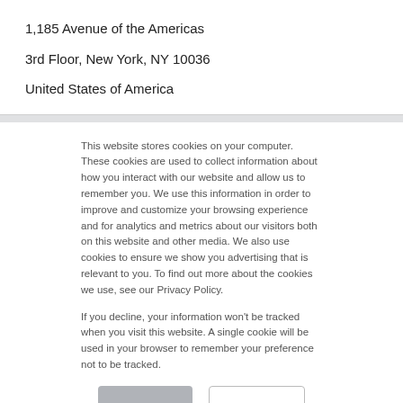1,185 Avenue of the Americas
3rd Floor, New York, NY 10036
United States of America
This website stores cookies on your computer. These cookies are used to collect information about how you interact with our website and allow us to remember you. We use this information in order to improve and customize your browsing experience and for analytics and metrics about our visitors both on this website and other media. We also use cookies to ensure we show you advertising that is relevant to you. To find out more about the cookies we use, see our Privacy Policy.
If you decline, your information won’t be tracked when you visit this website. A single cookie will be used in your browser to remember your preference not to be tracked.
Accept
Decline